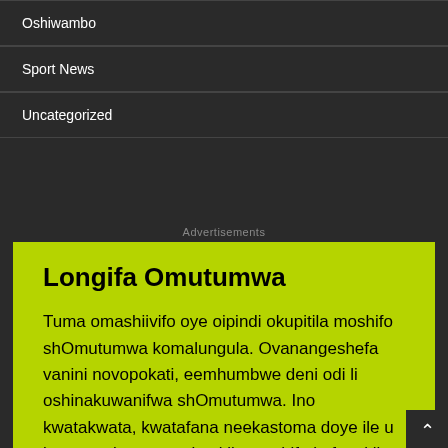Oshiwambo
Sport News
Uncategorized
Advertisements
Longifa Omutumwa
Tuma omashiivifo oye oipindi okupitila moshifo shOmutumwa komalungula. Ovanangeshefa vanini novopokati, eemhumbwe deni odi li oshinakuwanifwa shOmutumwa. Ino kwatakwata, kwatafana neekastoma doye ile u konge eekastoma okupitila moshifo kofuto i li pedu-elela